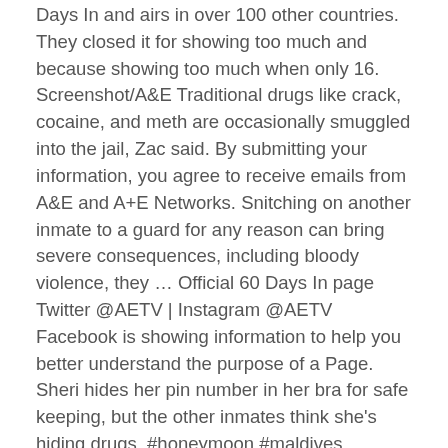Days In and airs in over 100 other countries. They closed it for showing too much and because showing too much when only 16. Screenshot/A&E Traditional drugs like crack, cocaine, and meth are occasionally smuggled into the jail, Zac said. By submitting your information, you agree to receive emails from A&E and A+E Networks. Snitching on another inmate to a guard for any reason can bring severe consequences, including bloody violence, they … Official 60 Days In page Twitter @AETV | Instagram @AETV Facebook is showing information to help you better understand the purpose of a Page. Sheri hides her pin number in her bra for safe keeping, but the other inmates think she's hiding drugs. #honeymoon #maldives @hideawaybeachmaldives More…" She goes into absurd detail about why she was better than all the other participants. "60 Days In" airs Thursday at 10 p.m. on A&E. At Atlanta's Fulton County Jail on "60 Days In" on A&E, inmates and guards have an adversarial relationship with … As the fans who saw the show when it aired back in 2016 did, opinions on the